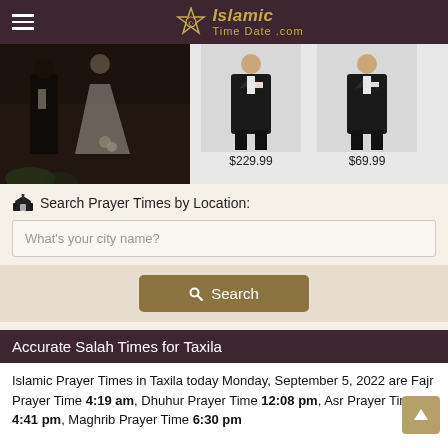Islamic Time Date .com
[Figure (photo): Banner showing a wedding couple on the left and two men's suits on the right with prices $229.99 and $69.99]
🕌 Search Prayer Times by Location:
What's your city name?
Search
Accurate Salah Times for Taxila
Islamic Prayer Times in Taxila today Monday, September 5, 2022 are Fajr Prayer Time 4:19 am, Dhuhur Prayer Time 12:08 pm, Asr Prayer Time 4:41 pm, Maghrib Prayer Time 6:30 pm